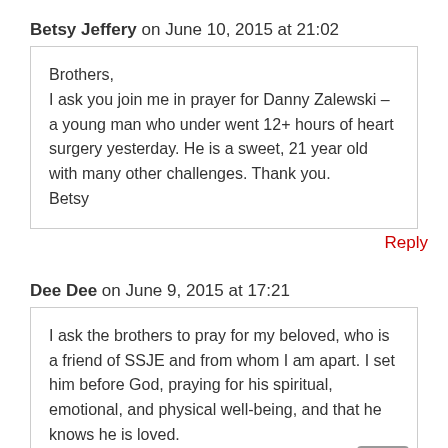Betsy Jeffery on June 10, 2015 at 21:02
Brothers,
I ask you join me in prayer for Danny Zalewski – a young man who under went 12+ hours of heart surgery yesterday. He is a sweet, 21 year old with many other challenges. Thank you.
Betsy
Reply
Dee Dee on June 9, 2015 at 17:21
I ask the brothers to pray for my beloved, who is a friend of SSJE and from whom I am apart. I set him before God, praying for his spiritual, emotional, and physical well-being, and that he knows he is loved.
Reply